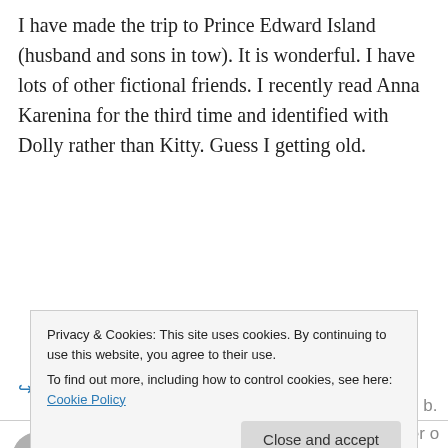I have made the trip to Prince Edward Island (husband and sons in tow). It is wonderful. I have lots of other fictional friends. I recently read Anna Karenina for the third time and identified with Dolly rather than Kitty. Guess I getting old.
★ Like
↳ Reply
mrsg327 on June 4, 2013 at 2:14 am
Privacy & Cookies: This site uses cookies. By continuing to use this website, you agree to their use.
To find out more, including how to control cookies, see here: Cookie Policy
Close and accept
colored by Anne. (Either me wanting to be her or